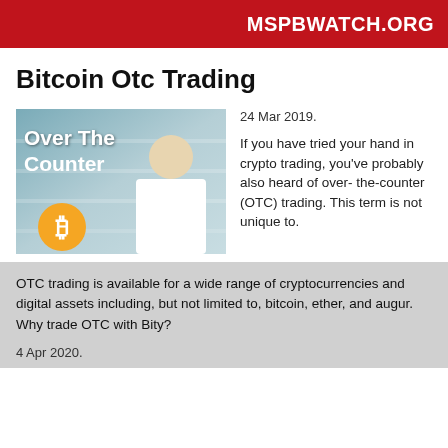MSPBWATCH.ORG
Bitcoin Otc Trading
[Figure (photo): Image showing 'Over The Counter' text with a Bitcoin logo and a pharmacist/professional in white coat in a pharmacy setting]
24 Mar 2019.
If you have tried your hand in crypto trading, you've probably also heard of over- the- counter (OTC) trading. This term is not unique to.
OTC trading is available for a wide range of cryptocurrencies and digital assets including, but not limited to, bitcoin, ether, and augur. Why trade OTC with Bity?
4 Apr 2020.